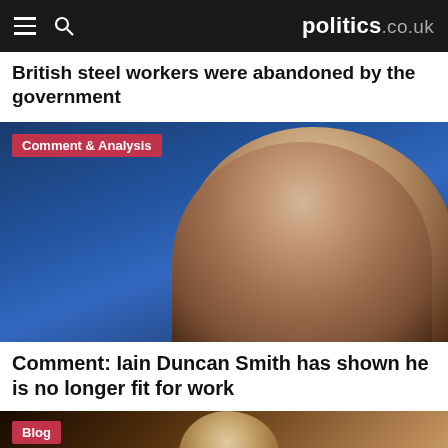politics.co.uk
British steel workers were abandoned by the government
[Figure (photo): Photo of Iain Duncan Smith looking upward against a blue background, with a 'Comment & Analysis' badge overlay]
Comment: Iain Duncan Smith has shown he is no longer fit for work
[Figure (photo): Photo of a man (Ed Miliband) with warm bokeh background, with a 'Blog' badge overlay]